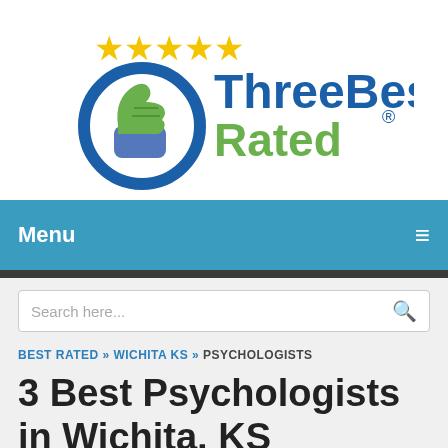[Figure (logo): ThreeBestRated logo with five gold stars, a blue thumbs-up icon, and the text 'ThreeBest Rated' with a registered trademark symbol]
Menu ☰
Search here...
BEST RATED » WICHITA KS » PSYCHOLOGISTS
3 Best Psychologists in Wichita, KS
Expert recommended Top 3 Psychologists in Wichita, Kansas. All of our psychologists actually face a rigorous 50-Point Inspection, which includes customer reviews, history, complaints, ratings, satisfaction, trust, cost and general excellence. You